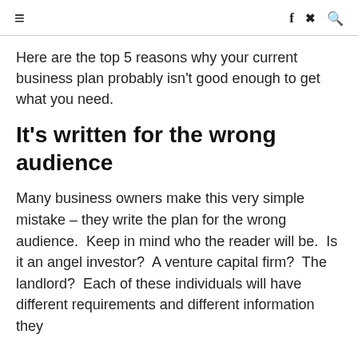≡  f  ✦  🔍
Here are the top 5 reasons why your current business plan probably isn't good enough to get what you need.
It's written for the wrong audience
Many business owners make this very simple mistake – they write the plan for the wrong audience.  Keep in mind who the reader will be.  Is it an angel investor?  A venture capital firm?  The landlord?  Each of these individuals will have different requirements and different information they